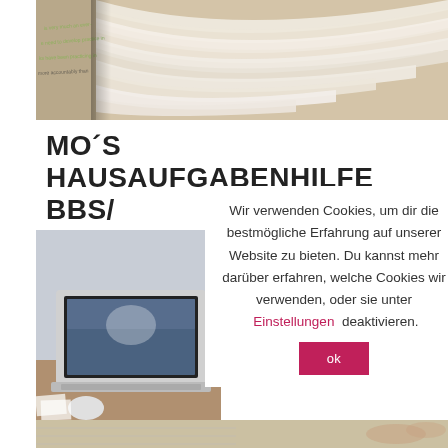[Figure (photo): Close-up of open book pages fanning/curling, top of page]
MO´S HAUSAUFGABENHILFE BBS/ OBERSCHULE (ALLE FÄCHER)
[Figure (photo): Laptop on desk with papers, lower left area]
Wir verwenden Cookies, um dir die bestmögliche Erfahrung auf unserer Website zu bieten. Du kannst mehr darüber erfahren, welche Cookies wir verwenden, oder sie unter Einstellungen deaktivieren.
ok
[Figure (photo): Papers/worksheets on desk, bottom strip]